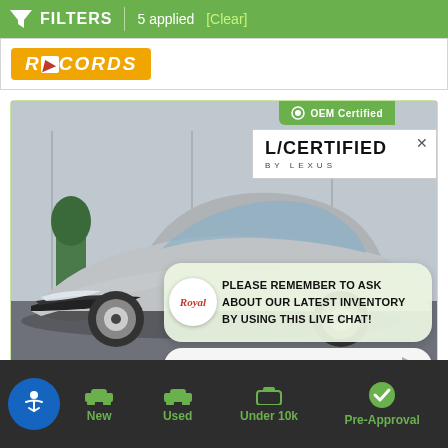FILTERS | 5 applied [Clear]
[Figure (logo): RECORDS orange logo banner]
[Figure (photo): Silver Lexus sedan at dealership, with OEM Certified badge, L/Certified by Lexus overlay, Royal chat bubble saying: PLEASE REMEMBER TO ASK ABOUT OUR LATEST INVENTORY BY USING THIS LIVE CHAT!, and ENTER YOUR MESSAGE input box]
New | Used | Under 10k | Pre-Approval